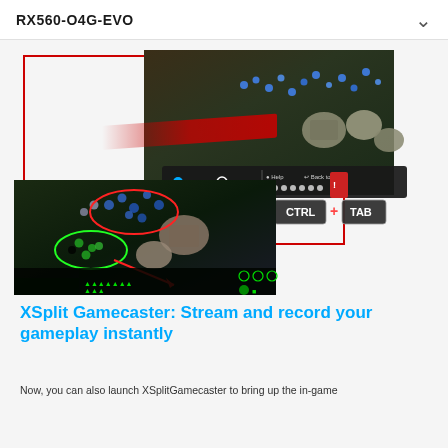RX560-O4G-EVO
[Figure (screenshot): XSplit Gamecaster interface showing a StarCraft II game with stream/record toolbar overlay and CTRL+TAB keyboard shortcut displayed. Two game screenshots are shown: one with the streaming toolbar and hotkey overlay, and one showing gameplay with red and green unit selection circles and a red arrow indicator.]
XSplit Gamecaster: Stream and record your gameplay instantly
Now, you can also launch XSplitGamecaster to bring up the in-game